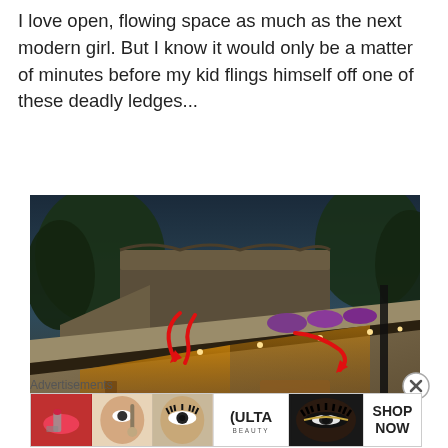I love open, flowing space as much as the next modern girl. But I know it would only be a matter of minutes before my kid flings himself off one of these deadly ledges...
[Figure (photo): Outdoor luxury terrace/deck at dusk with illuminated underside, purple bean bag chairs, red arrows drawn on photo pointing to ledges, trees and stone building in background]
Advertisements
[Figure (photo): ULTA Beauty advertisement strip showing makeup/cosmetics imagery with 'SHOP NOW' button]